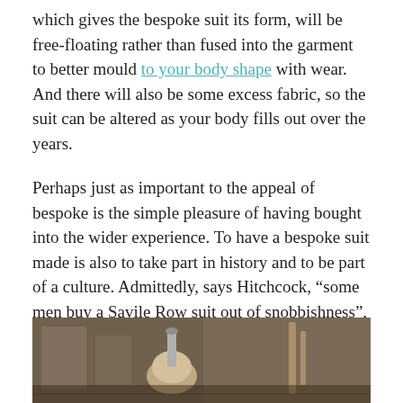which gives the bespoke suit its form, will be free-floating rather than fused into the garment to better mould to your body shape with wear. And there will also be some excess fabric, so the suit can be altered as your body fills out over the years.
Perhaps just as important to the appeal of bespoke is the simple pleasure of having bought into the wider experience. To have a bespoke suit made is also to take part in history and to be part of a culture. Admittedly, says Hitchcock, “some men buy a Savile Row suit out of snobbishness”, but those who invest in the experience are, says Taub, “taking part in something that is greater than just the suit”.
[Figure (photo): Bottom portion of a photograph showing what appears to be a sewing tool or tailoring instrument (possibly a tailor's ham or pressing tool) in a workshop setting.]